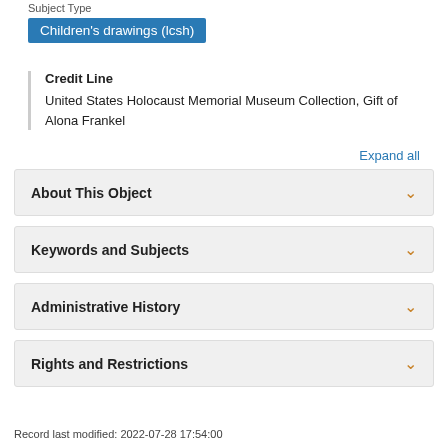Subject Type
Children's drawings (lcsh)
Credit Line
United States Holocaust Memorial Museum Collection, Gift of Alona Frankel
Expand all
About This Object
Keywords and Subjects
Administrative History
Rights and Restrictions
Record last modified: 2022-07-28 17:54:00